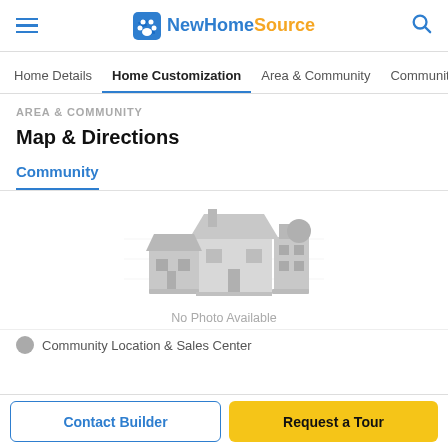NewHomeSource
Home Details | Home Customization | Area & Community | Community &
AREA & COMMUNITY
Map & Directions
Community
[Figure (illustration): Grayscale illustration of houses with 'No Photo Available' text below]
Community Location & Sales Center
Contact Builder
Request a Tour